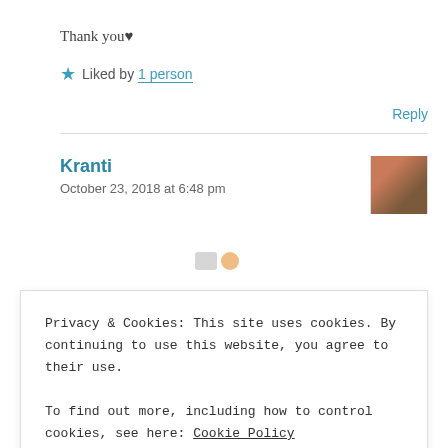Thank you♥
★ Liked by 1 person
Reply
Kranti
October 23, 2018 at 6:48 pm
Privacy & Cookies: This site uses cookies. By continuing to use this website, you agree to their use.
To find out more, including how to control cookies, see here: Cookie Policy
Close and accept
jibarah